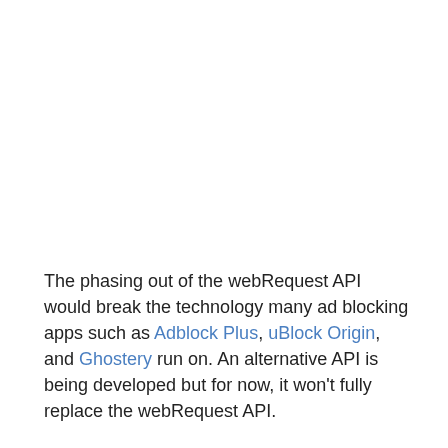The phasing out of the webRequest API would break the technology many ad blocking apps such as Adblock Plus, uBlock Origin, and Ghostery run on. An alternative API is being developed but for now, it won't fully replace the webRequest API.
Browser extensions for antivirus products, parental